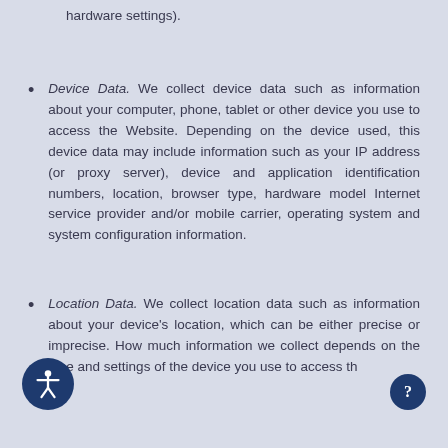hardware settings).
Device Data. We collect device data such as information about your computer, phone, tablet or other device you use to access the Website. Depending on the device used, this device data may include information such as your IP address (or proxy server), device and application identification numbers, location, browser type, hardware model Internet service provider and/or mobile carrier, operating system and system configuration information.
Location Data. We collect location data such as information about your device's location, which can be either precise or imprecise. How much information we collect depends on the type and settings of the device you use to access th